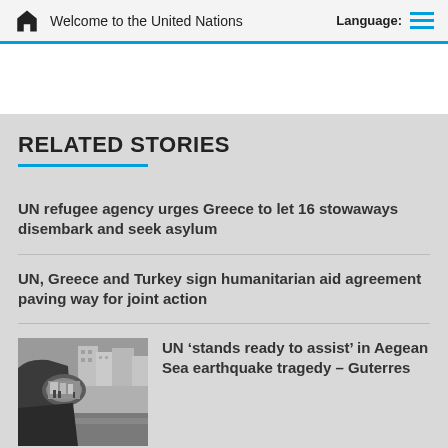Welcome to the United Nations | Language:
RELATED STORIES
UN refugee agency urges Greece to let 16 stowaways disembark and seek asylum
UN, Greece and Turkey sign humanitarian aid agreement paving way for joint action
[Figure (photo): Black and white photo showing a car side mirror reflecting a street scene with buildings and people]
UN ‘stands ready to assist’ in Aegean Sea earthquake tragedy – Guterres